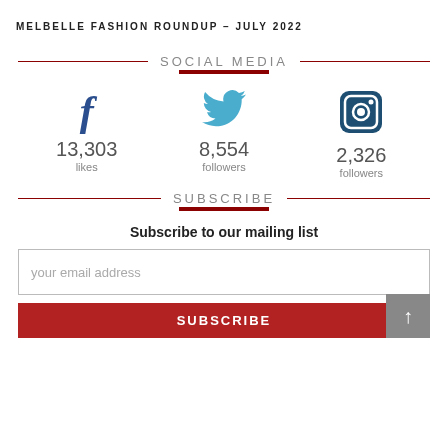MELBELLE FASHION ROUNDUP – JULY 2022
SOCIAL MEDIA
13,303 likes (Facebook), 8,554 followers (Twitter), 2,326 followers (Instagram)
SUBSCRIBE
Subscribe to our mailing list
your email address
SUBSCRIBE